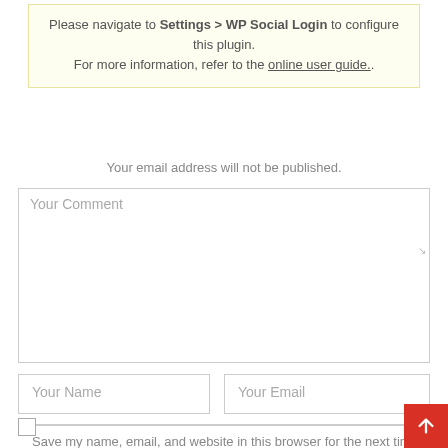Please navigate to Settings > WP Social Login to configure this plugin. For more information, refer to the online user guide..
Your email address will not be published.
Your Comment
Your Name
Your Email
Your Website
Save my name, email, and website in this browser for the next time I